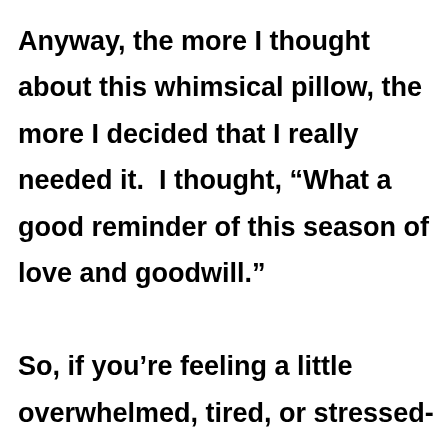Anyway, the more I thought about this whimsical pillow, the more I decided that I really needed it.  I thought, “What a good reminder of this season of love and goodwill.”

So, if you’re feeling a little overwhelmed, tired, or stressed-out, put on some festive music, remember your blessings, and think about all the wonderful things you